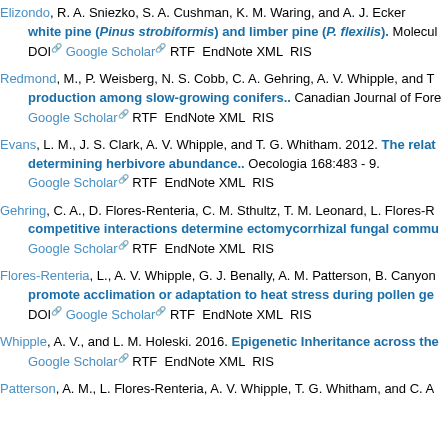Elizondo, R. A. Sniezko, S. A. Cushman, K. M. Waring, and A. J. Ecker... white pine (Pinus strobiformis) and limber pine (P. flexilis). Molecul... DOI Google Scholar RTF EndNote XML RIS
Redmond, M., P. Weisberg, N. S. Cobb, C. A. Gehring, A. V. Whipple, and T... production among slow-growing conifers.. Canadian Journal of Fore... Google Scholar RTF EndNote XML RIS
Evans, L. M., J. S. Clark, A. V. Whipple, and T. G. Whitham. 2012. The relat... determining herbivore abundance.. Oecologia 168:483 - 9. Google Scholar RTF EndNote XML RIS
Gehring, C. A., D. Flores-Renteria, C. M. Sthultz, T. M. Leonard, L. Flores-R... competitive interactions determine ectomycorrhizal fungal commu... Google Scholar RTF EndNote XML RIS
Flores-Renteria, L., A. V. Whipple, G. J. Benally, A. M. Patterson, B. Canyon... promote acclimation or adaptation to heat stress during pollen ge... DOI Google Scholar RTF EndNote XML RIS
Whipple, A. V., and L. M. Holeski. 2016. Epigenetic Inheritance across the... Google Scholar RTF EndNote XML RIS
Patterson, A. M., L. Flores-Renteria, A. V. Whipple, T. G. Whitham, and C. A...